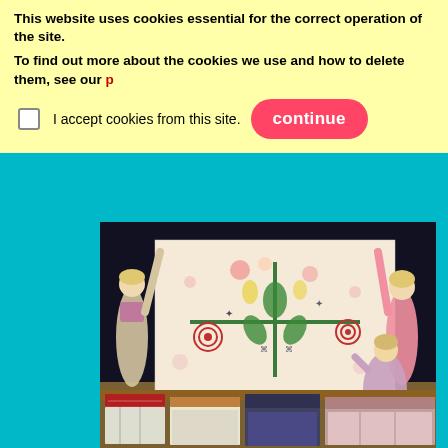This website uses cookies essential for the correct operation of the site.
To find out more about the cookies we use and how to delete them, see our p[privacy policy link]
I accept cookies from this site.
[Figure (photo): Two women and a girl holding up a large decorative appliqué quilt with floral and folk-art motifs on a cream background, displayed in front of a dark curtain backdrop. Several folded quilts are visible on a table in the foreground.]